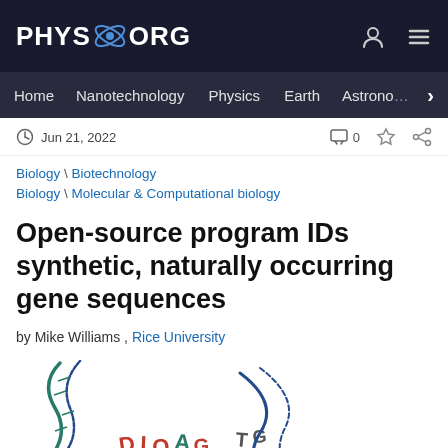PHYS.ORG
Home  Nanotechnology  Physics  Earth  Astronomy
Jun 21, 2022  0
Biology \ Biotechnology
Biology \ Molecular & Computational biology
Open-source program IDs synthetic, naturally occurring gene sequences
by Mike Williams , Rice University
[Figure (illustration): Hand-drawn illustration of DNA strands and gene sequences with letters like DIOAG, TG, IIO!, G, CTAA visible in colored hand-drawn text]